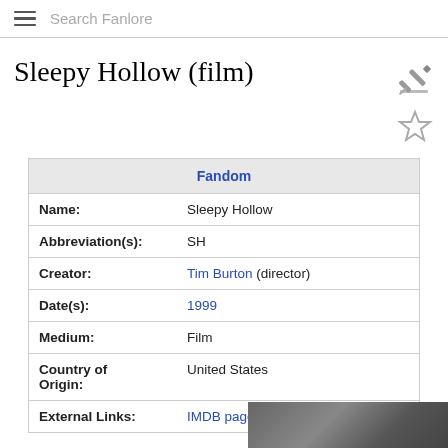Search Fanlore
Sleepy Hollow (film)
| Fandom |
| --- |
| Name: | Sleepy Hollow |
| Abbreviation(s): | SH |
| Creator: | Tim Burton (director) |
| Date(s): | 1999 |
| Medium: | Film |
| Country of Origin: | United States |
| External Links: | IMDB page |
[Figure (photo): Partial photo at bottom right of page]